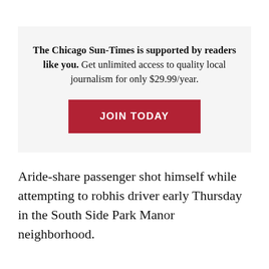The Chicago Sun-Times is supported by readers like you. Get unlimited access to quality local journalism for only $29.99/year. JOIN TODAY
Aride-share passenger shot himself while attempting to robhis driver early Thursday in the South Side Park Manor neighborhood.